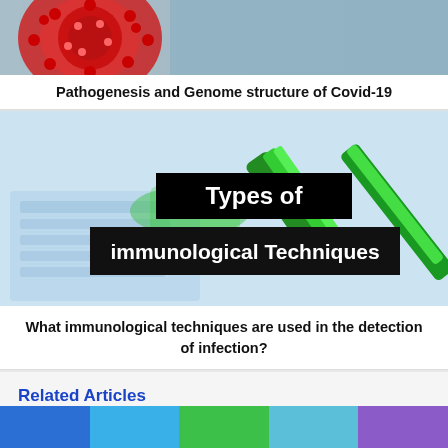[Figure (photo): Top partial image showing a coronavirus particle (red spiky virus) on left and a blurred grey/blue background on the right.]
Pathogenesis and Genome structure of Covid-19
[Figure (photo): Laboratory image with a green pipette/dropper over a light blue background with keyboard. Overlaid black text boxes reading 'Types of' and 'immunological Techniques'.]
What immunological techniques are used in the detection of infection?
Related Articles
[Figure (infographic): Five colored rectangles in a row: blue, light blue, green, cyan, purple — representing related article thumbnail placeholders.]